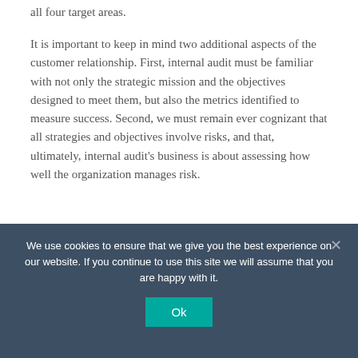all four target areas.
It is important to keep in mind two additional aspects of the customer relationship. First, internal audit must be familiar with not only the strategic mission and the objectives designed to meet them, but also the metrics identified to measure success. Second, we must remain ever cognizant that all strategies and objectives involve risks, and that, ultimately, internal audit's business is about assessing how well the organization manages risk.
All of this assumes, of course, a strong relationship between the CAE and management and the board. On numerous occasions in this blog and elsewhere, I
We use cookies to ensure that we give you the best experience on our website. If you continue to use this site we will assume that you are happy with it.